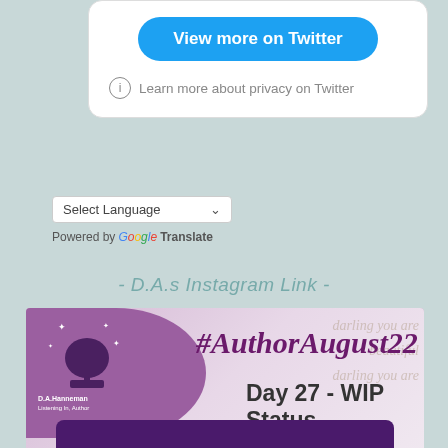[Figure (screenshot): Twitter embed card with 'View more on Twitter' blue button and privacy info link]
[Figure (screenshot): Google Translate widget with Select Language dropdown]
- D.A.s Instagram Link -
[Figure (photo): Instagram post image for #AuthorAugust22 Day 27 - WIP Status by D.A.Hanneman, with purple background and decorative script text]